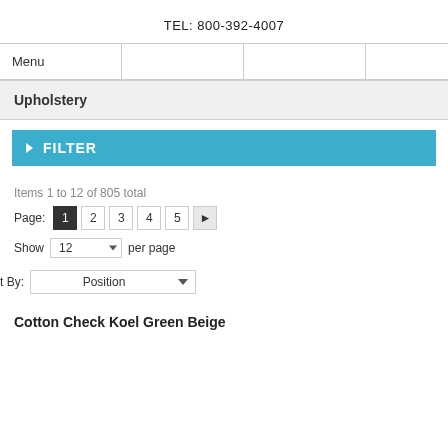TEL: 800-392-4007
Menu
Upholstery
▶ FILTER
Items 1 to 12 of 805 total
Page: 1 2 3 4 5 ▶
Show 12 per page
t By: Position
Cotton Check Koel Green Beige